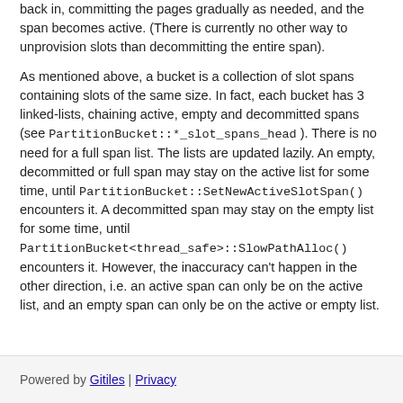back in, committing the pages gradually as needed, and the span becomes active. (There is currently no other way to unprovision slots than decommitting the entire span).
As mentioned above, a bucket is a collection of slot spans containing slots of the same size. In fact, each bucket has 3 linked-lists, chaining active, empty and decommitted spans (see PartitionBucket::*_slot_spans_head ). There is no need for a full span list. The lists are updated lazily. An empty, decommitted or full span may stay on the active list for some time, until PartitionBucket::SetNewActiveSlotSpan() encounters it. A decommitted span may stay on the empty list for some time, until PartitionBucket<thread_safe>::SlowPathAlloc() encounters it. However, the inaccuracy can't happen in the other direction, i.e. an active span can only be on the active list, and an empty span can only be on the active or empty list.
Powered by Gitiles | Privacy